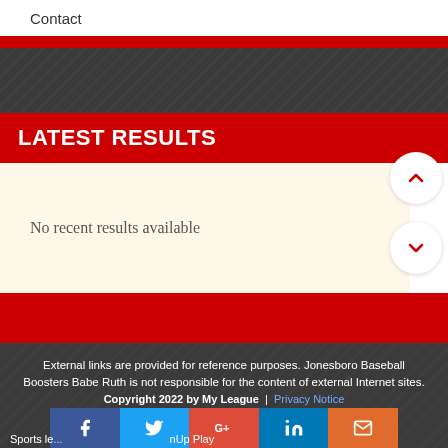Contact
LATEST RESULTS
No recent results available
External links are provided for reference purposes. Jonesboro Baseball Boosters Babe Ruth is not responsible for the content of external Internet sites.
Copyright 2022 by My League  |  Privacy Notice  Sports le... nUp Play